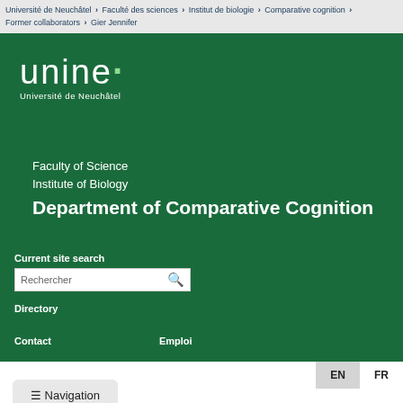Université de Neuchâtel > Faculté des sciences > Institut de biologie > Comparative cognition > Former collaborators > Gier Jennifer
[Figure (logo): unine logo - Université de Neuchâtel white logo on green background]
Faculty of Science
Institute of Biology
Department of Comparative Cognition
Current site search
Rechercher
Directory
Contact
Emploi
EN  FR
≡ Navigation